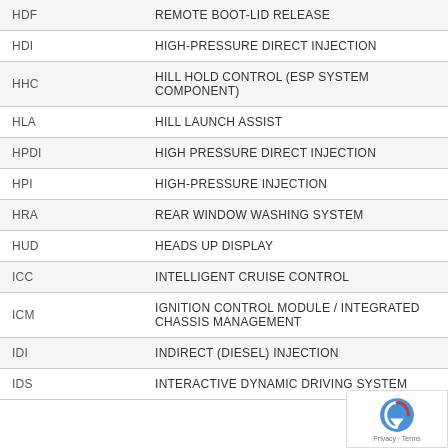| Code | Description |
| --- | --- |
| HDF | REMOTE BOOT-LID RELEASE |
| HDI | HIGH-PRESSURE DIRECT INJECTION |
| HHC | HILL HOLD CONTROL (ESP SYSTEM COMPONENT) |
| HLA | HILL LAUNCH ASSIST |
| HPDI | HIGH PRESSURE DIRECT INJECTION |
| HPI | HIGH-PRESSURE INJECTION |
| HRA | REAR WINDOW WASHING SYSTEM |
| HUD | HEADS UP DISPLAY |
| ICC | INTELLIGENT CRUISE CONTROL |
| ICM | IGNITION CONTROL MODULE / INTEGRATED CHASSIS MANAGEMENT |
| IDI | INDIRECT (DIESEL) INJECTION |
| IDS | INTERACTIVE DYNAMIC DRIVING SYSTEM |